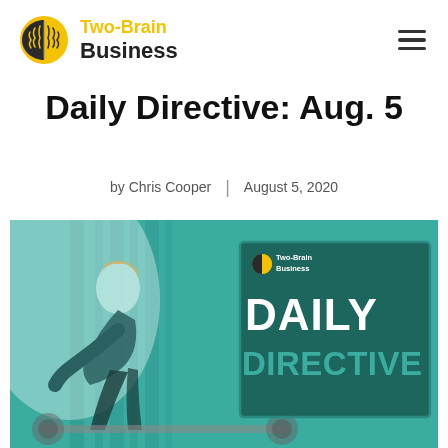[Figure (logo): Two-Brain Business logo with brain icon and yellow/black text]
Daily Directive: Aug. 5
by Chris Cooper | August 5, 2020
[Figure (photo): Hero image showing a person doing a workout in a gym with a teal/green color overlay, with a Two-Brain Business Daily Directive banner overlay on the right side]